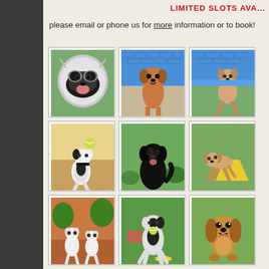LIMITED SLOTS AVA...
please email or phone us for more information or to book!
[Figure (photo): Husky dog lying on its back on grass, looking up at camera with tongue out]
[Figure (photo): Brown/tan dog running toward camera in outdoor yard with blue brick wall]
[Figure (photo): Dog jumping over blue brick wall in outdoor play area]
[Figure (photo): Black and white dog catching a yellow tennis ball in sunlight]
[Figure (photo): Black Labrador sitting on grass looking happy]
[Figure (photo): Light brown dog running in yard near yellow tent/obstacle]
[Figure (photo): Two small white and brown dogs playing on red dirt/soil outdoor area]
[Figure (photo): Black and white dog standing with yellow ball in mouth in garden]
[Figure (photo): Golden/tan cocker spaniel smiling at camera outdoors]